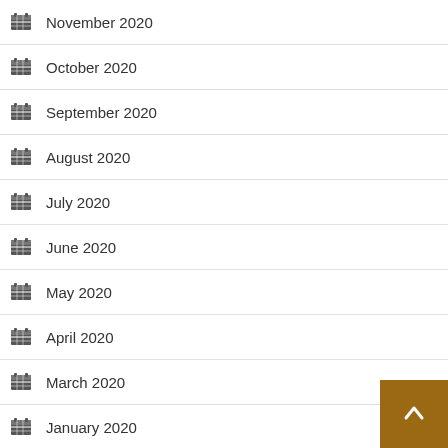November 2020
October 2020
September 2020
August 2020
July 2020
June 2020
May 2020
April 2020
March 2020
January 2020
December 2019
October 2019
September 2019